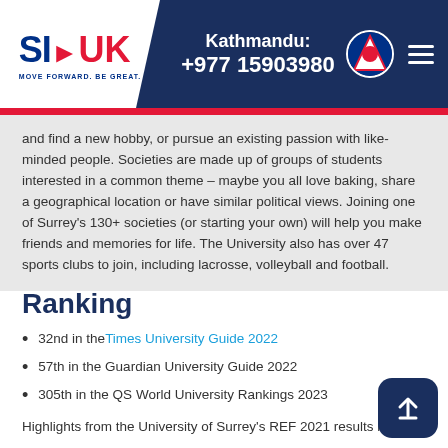SI-UK | Kathmandu: +977 15903980
and find a new hobby, or pursue an existing passion with like-minded people. Societies are made up of groups of students interested in a common theme – maybe you all love baking, share a geographical location or have similar political views. Joining one of Surrey's 130+ societies (or starting your own) will help you make friends and memories for life. The University also has over 47 sports clubs to join, including lacrosse, volleyball and football.
Ranking
32nd in the Times University Guide 2022
57th in the Guardian University Guide 2022
305th in the QS World University Rankings 2023
Highlights from the University of Surrey's REF 2021 results include:
Rated in the top 20 for the quality of research output
6th for research power – the quality and scale of the